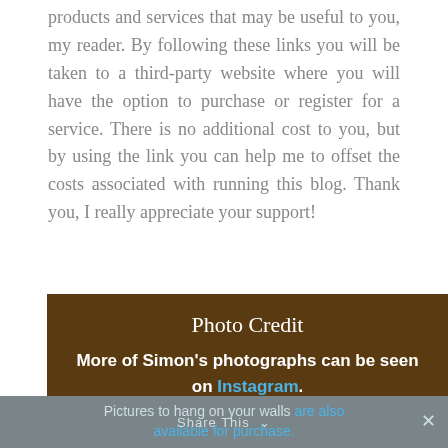products and services that may be useful to you, my reader. By following these links you will be taken to a third-party website where you will have the option to purchase or register for a service. There is no additional cost to you, but by using the link you can help me to offset the costs associated with running this blog. Thank you, I really appreciate your support!
Photo Credit
More of Simon's photographs can be seen on Instagram.
Pictures to hang on your walls are also available for purchase.